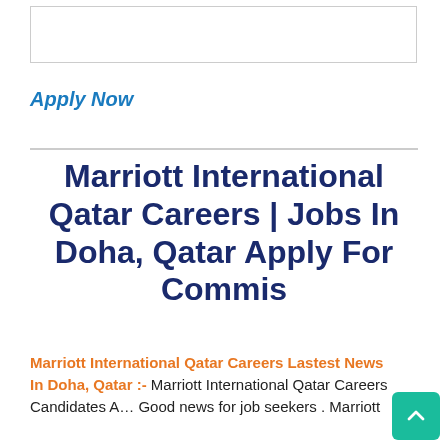[Figure (other): Empty bordered white box at the top of the page]
Apply Now
Marriott International Qatar Careers | Jobs In Doha, Qatar Apply For Commis
Marriott International Qatar Careers Lastest News In Doha, Qatar :- Marriott International Qatar Careers Candidates A… Good news for job seekers . Marriott